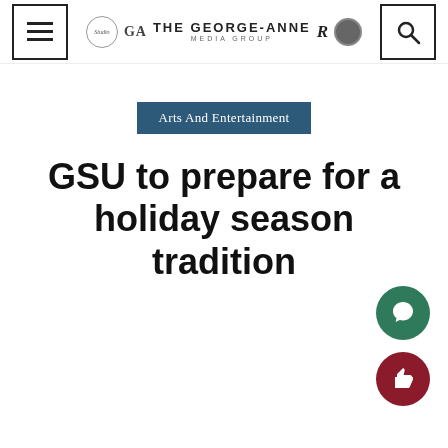The George-Anne Media Group
Arts And Entertainment
GSU to prepare for a holiday season tradition